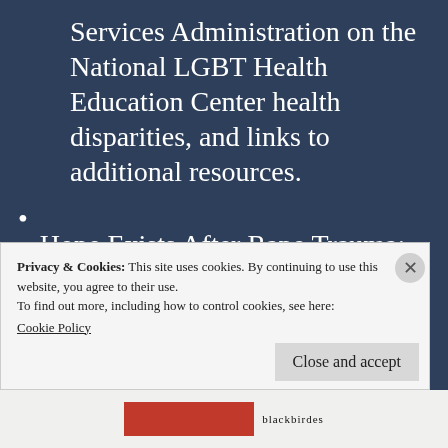Services Administration on the National LGBT Health Education Center health disparities, and links to additional resources.
Hope Exists After Rape Trauma: The mission of Hope Exists After Rape Trauma (H-E-A-R-T) is to provide HOPE for victims of sexual assault through the provision of essential and
Privacy & Cookies: This site uses cookies. By continuing to use this website, you agree to their use.
To find out more, including how to control cookies, see here:
Cookie Policy
Close and accept